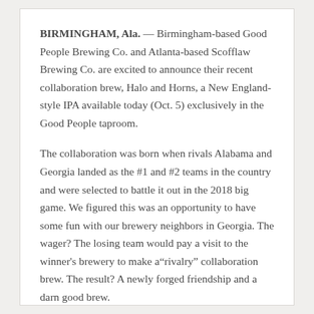BIRMINGHAM, Ala. — Birmingham-based Good People Brewing Co. and Atlanta-based Scofflaw Brewing Co. are excited to announce their recent collaboration brew, Halo and Horns, a New England-style IPA available today (Oct. 5) exclusively in the Good People taproom.
The collaboration was born when rivals Alabama and Georgia landed as the #1 and #2 teams in the country and were selected to battle it out in the 2018 big game. We figured this was an opportunity to have some fun with our brewery neighbors in Georgia. The wager? The losing team would pay a visit to the winner's brewery to make a"rivalry" collaboration brew. The result? A newly forged friendship and a darn good brew.
"We wanted to brew a big juicy aromatic IPA with